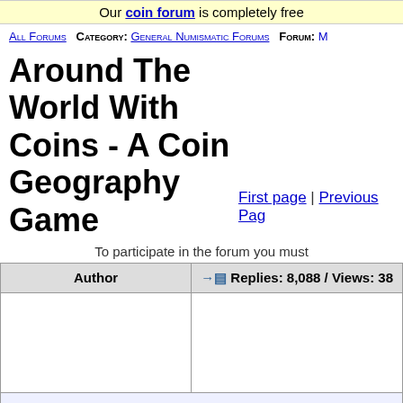Our coin forum is completely free
All Forums   Category: General Numismatic Forums   Forum: M...
Around The World With Coins - A Coin Geography Game
First page | Previous Page
To participate in the forum you must
| Author | Replies: 8,088 / Views: 38... |
| --- | --- |
|  |  |
| wannabfree  [SUPPORTER]  Pillar of the Community |  |
wannabfree  Pillar of the Community